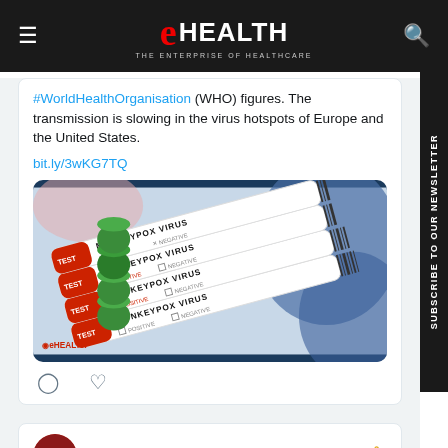eHEALTH — THE ENTERPRISE OF HEALTHCARE
#WorldHealthOrganisation (WHO) figures. The transmission is slowing in the virus hotspots of Europe and the United States.
bit.ly/3wKG7TQ
[Figure (photo): Four medical test tubes with green caps labeled 'MONKEYPOX VIRUS TEST' with positive/negative checkboxes, arranged diagonally. eHEALTH watermark visible.]
eHEALTH Mag... @ehealth... · Aug 31
#DrBaljitKaur, Punjab Minister for Social